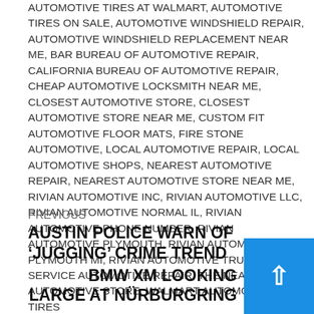AUTOMOTIVE TIRES AT WALMART, AUTOMOTIVE TIRES ON SALE, AUTOMOTIVE WINDSHIELD REPAIR, AUTOMOTIVE WINDSHIELD REPLACEMENT NEAR ME, BAR BUREAU OF AUTOMOTIVE REPAIR, CALIFORNIA BUREAU OF AUTOMOTIVE REPAIR, CHEAP AUTOMOTIVE LOCKSMITH NEAR ME, CLOSEST AUTOMOTIVE STORE, CLOSEST AUTOMOTIVE STORE NEAR ME, CUSTOM FIT AUTOMOTIVE FLOOR MATS, FIRE STONE AUTOMOTIVE, LOCAL AUTOMOTIVE REPAIR, LOCAL AUTOMOTIVE SHOPS, NEAREST AUTOMOTIVE REPAIR, NEAREST AUTOMOTIVE STORE NEAR ME, RIVIAN AUTOMOTIVE INC, RIVIAN AUTOMOTIVE LLC, RIVIAN AUTOMOTIVE NORMAL IL, RIVIAN AUTOMOTIVE PHONE NUMBER, RIVIAN AUTOMOTIVE PLYMOUTH, RIVIAN AUTOMOTIVE PLYMOUTH MI, RIVIAN AUTOMOTIVE TRUCK, SERVICE AUTOMOTIVE REPAIR, THE NEAREST AUTOMOTIVE STORE, WALMART AUTOMOTIVE TIRES
PREVIOUS
AUSTIN POLICE WARN OF 'JUGGING' CRIME TREND
BMW XM LOOKING LARGE AT NÜRBURGRING